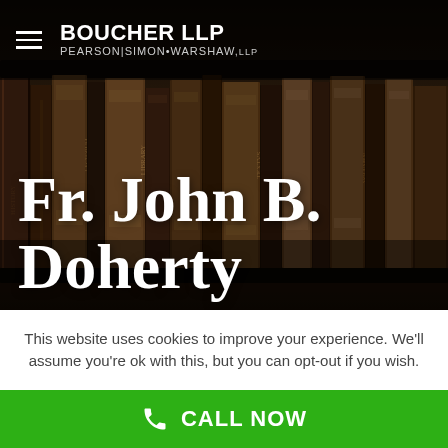[Figure (photo): Background photo of old leather-bound books on a dark wooden bookshelf, creating a dark atmospheric legal/library setting]
BOUCHER LLP | PEARSON|SIMON•WARSHAW,LLP
Fr. John B. Doherty
This website uses cookies to improve your experience. We'll assume you're ok with this, but you can opt-out if you wish.
CALL NOW